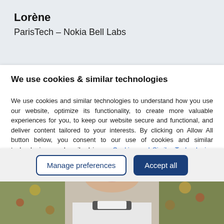Lorène
ParisTech – Nokia Bell Labs
We use cookies & similar technologies
We use cookies and similar technologies to understand how you use our website, optimize its functionality, to create more valuable experiences for you, to keep our website secure and functional, and deliver content tailored to your interests. By clicking on Allow All button below, you consent to our use of cookies and similar technologies, as described in our Cookies and Similar Technologies Notice.
[Figure (photo): Partial photo of a person outdoors with autumn foliage in the background, showing neck and lower face with a white and dark collar shirt.]